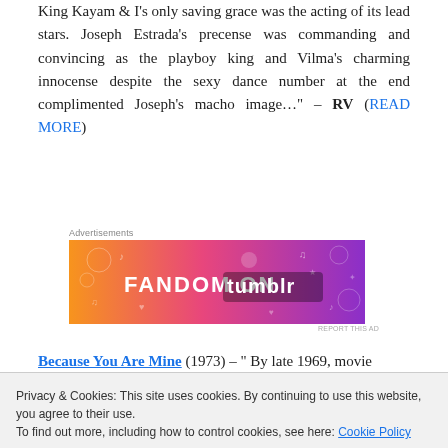King Kayam & I's only saving grace was the acting of its lead stars. Joseph Estrada's precense was commanding and convincing as the playboy king and Vilma's charming innocense despite the sexy dance number at the end complimented Joseph's macho image..." – RV (READ MORE)
[Figure (other): Fandom on Tumblr advertisement banner with orange-to-purple gradient and decorative doodles]
Because You Are Mine (1973) – " By late 1969, movie team of Vilma Santos and Edgar Bobot Mortiz was
Privacy & Cookies: This site uses cookies. By continuing to use this website, you agree to their use.
To find out more, including how to control cookies, see here: Cookie Policy